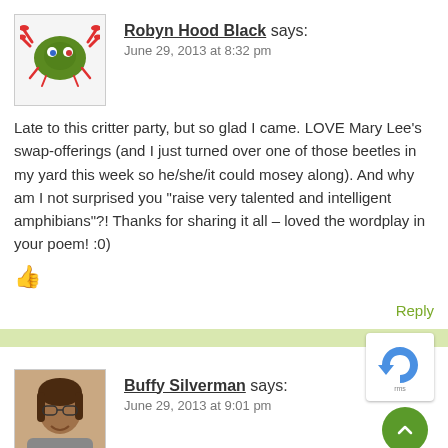Robyn Hood Black says:
June 29, 2013 at 8:32 pm
Late to this critter party, but so glad I came. LOVE Mary Lee’s swap-offerings (and I just turned over one of those beetles in my yard this week so he/she/it could mosey along). And why am I not surprised you “raise very talented and intelligent amphibians”?! Thanks for sharing it all – loved the wordplay in your poem! :0)
Reply
Buffy Silverman says:
June 29, 2013 at 9:01 pm